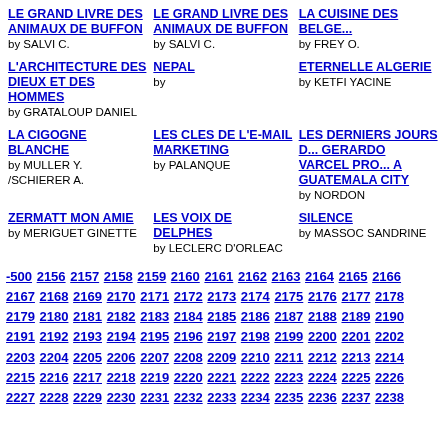LE GRAND LIVRE DES ANIMAUX DE BUFFON by SALVI C.
LE GRAND LIVRE DES ANIMAUX DE BUFFON by SALVI C.
LA CUISINE DES BELGE... by FREY O.
L'ARCHITECTURE DES DIEUX ET DES HOMMES by GRATALOUP DANIEL
NEPAL by
ETERNELLE ALGERIE by KETFI YACINE
LA CIGOGNE BLANCHE by MULLER Y. /SCHIERER A.
LES CLES DE L'E-MAIL MARKETING by PALANQUE
LES DERNIERS JOURS D... GERARDO VARCEL PRO... A GUATEMALA CITY by NORDON
ZERMATT MON AMIE by MERIGUET GINETTE
LES VOIX DE DELPHES by LECLERC D'ORLEAC
SILENCE by MASSOC SANDRINE
-500 2156 2157 2158 2159 2160 2161 2162 2163 2164 2165 2166 2167 2168 2169 2170 2171 2172 2173 2174 2175 2176 2177 2178 2179 2180 2181 2182 2183 2184 2185 2186 2187 2188 2189 2190 2191 2192 2193 2194 2195 2196 2197 2198 2199 2200 2201 2202 2203 2204 2205 2206 2207 2208 2209 2210 2211 2212 2213 2214 2215 2216 2217 2218 2219 2220 2221 2222 2223 2224 2225 2226 2227 2228 2229 2230 2231 2232 2233 2234 2235 2236 2237 2238